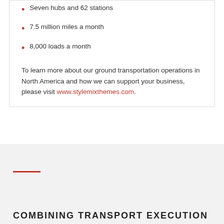Seven hubs and 62 stations
7.5 million miles a month
8,000 loads a month
To learn more about our ground transportation operations in North America and how we can support your business, please visit www.stylemixthemes.com.
COMBINING TRANSPORT EXECUTION